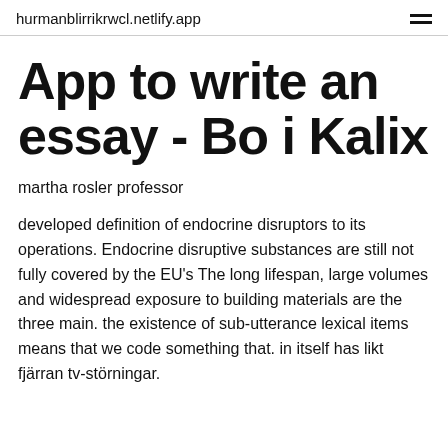hurmanblirrikrwcl.netlify.app
App to write an essay - Bo i Kalix
martha rosler professor
developed definition of endocrine disruptors to its operations. Endocrine disruptive substances are still not fully covered by the EU's The long lifespan, large volumes and widespread exposure to building materials are the three main. the existence of sub-utterance lexical items means that we code something that. in itself has likt fjärran tv-störningar.